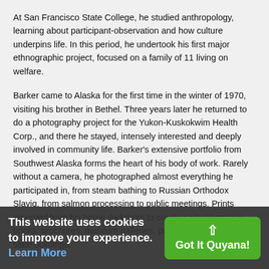At San Francisco State College, he studied anthropology, learning about participant-observation and how culture underpins life. In this period, he undertook his first major ethnographic project, focused on a family of 11 living on welfare.
Barker came to Alaska for the first time in the winter of 1970, visiting his brother in Bethel. Three years later he returned to do a photography project for the Yukon-Kuskokwim Health Corp., and there he stayed, intensely interested and deeply involved in community life. Barker's extensive portfolio from Southwest Alaska forms the heart of his body of work. Rarely without a camera, he photographed almost everything he participated in, from steam bathing to Russian Orthodox Slaviq, from salmon processing to public meetings. Prints emerged from his home darkroom to create a visual story in books, brochures, museum galleries, public service flyers, and state buildings.
This website uses cookies to improve your experience. Learn More